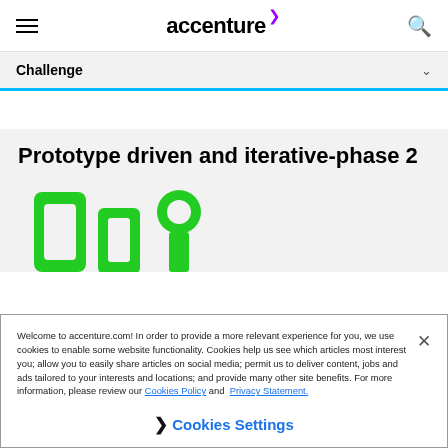accenture
Challenge
Prototype driven and iterative-phase 2
[Figure (illustration): Green geometric icon shapes resembling circuit/prototype design elements]
Welcome to accenture.com! In order to provide a more relevant experience for you, we use cookies to enable some website functionality. Cookies help us see which articles most interest you; allow you to easily share articles on social media; permit us to deliver content, jobs and ads tailored to your interests and locations; and provide many other site benefits. For more information, please review our Cookies Policy and Privacy Statement.
Cookies Settings